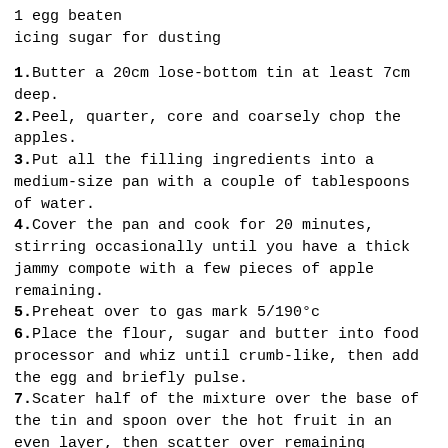1 egg beaten
icing sugar for dusting
1. Butter a 20cm lose-bottom tin at least 7cm deep.
2. Peel, quarter, core and coarsely chop the apples.
3. Put all the filling ingredients into a medium-size pan with a couple of tablespoons of water.
4. Cover the pan and cook for 20 minutes, stirring occasionally until you have a thick jammy compote with a few pieces of apple remaining.
5. Preheat over to gas mark 5/190°c
6. Place the flour, sugar and butter into food processor and whiz until crumb-like, then add the egg and briefly pulse.
7. Scater half of the mixture over the base of the tin and spoon over the hot fruit in an even layer, then scatter over remaining